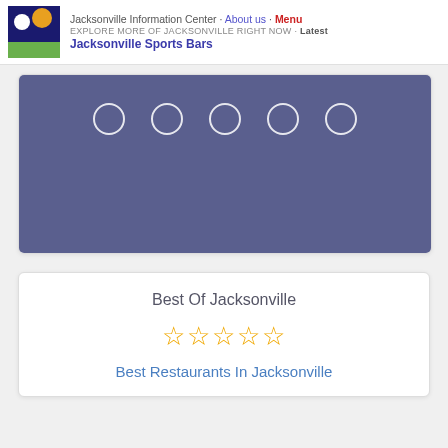Jacksonville Information Center · About us · Menu
EXPLORE MORE OF JACKSONVILLE RIGHT NOW · Latest
Jacksonville Sports Bars
[Figure (illustration): Blue slideshow banner with 5 empty circle indicators centered near top]
Best Of Jacksonville
[Figure (other): Five gold outline stars (rating stars, all empty)]
Best Restaurants In Jacksonville